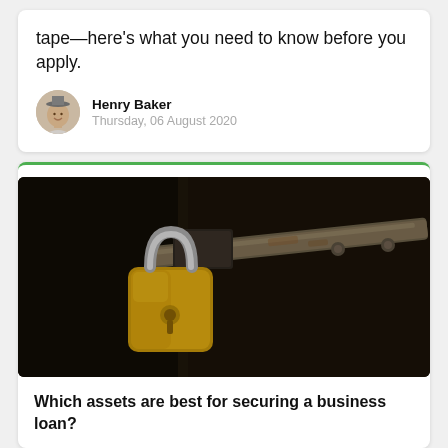tape—here's what you need to know before you apply.
Henry Baker
Thursday, 06 August 2020
[Figure (photo): Close-up photograph of a yellow padlock secured on a dark metal door latch/bolt, with rust and wood textures visible in the background.]
Which assets are best for securing a business loan?